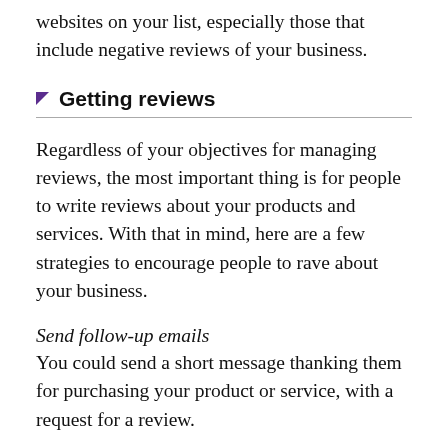websites on your list, especially those that include negative reviews of your business.
Getting reviews
Regardless of your objectives for managing reviews, the most important thing is for people to write reviews about your products and services. With that in mind, here are a few strategies to encourage people to rave about your business.
Send follow-up emails
You could send a short message thanking them for purchasing your product or service, with a request for a review.
Simplify the review process